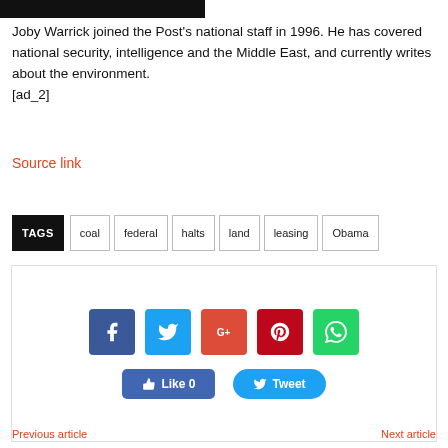[Figure (photo): Dark photo strip at top of page (partial image)]
Joby Warrick joined the Post's national staff in 1996. He has covered national security, intelligence and the Middle East, and currently writes about the environment.
[ad_2]
Source link
TAGS  coal  federal  halts  land  leasing  Obama
[Figure (infographic): Social media sharing buttons: Facebook, Twitter, Google+, Pinterest, WhatsApp icons; Like 0 button and Tweet button]
Previous article    Next article